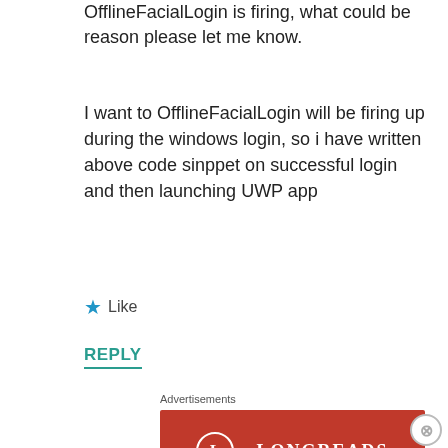OfflineFacialLogin is firing, what could be reason please let me know.
I want to OfflineFacialLogin will be firing up during the windows login, so i have written above code sinppet on successful login and then launching UWP app
★ Like
REPLY
Advertisements
[Figure (other): Longreads advertisement banner with red background, circle logo with L, and LONGREADS text]
Advertisements
[Figure (other): DuckDuckGo advertisement: Search, browse, and email with more privacy. All in One Free App]